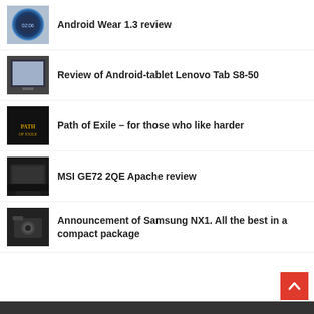Android Wear 1.3 review
Review of Android-tablet Lenovo Tab S8-50
Path of Exile – for those who like harder
MSI GE72 2QE Apache review
Announcement of Samsung NX1. All the best in a compact package